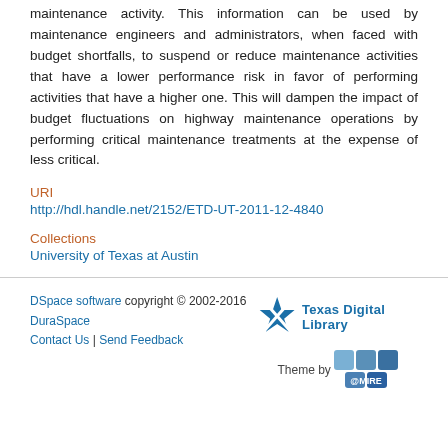maintenance activity. This information can be used by maintenance engineers and administrators, when faced with budget shortfalls, to suspend or reduce maintenance activities that have a lower performance risk in favor of performing activities that have a higher one. This will dampen the impact of budget fluctuations on highway maintenance operations by performing critical maintenance treatments at the expense of less critical.
URI
http://hdl.handle.net/2152/ETD-UT-2011-12-4840
Collections
University of Texas at Austin
DSpace software copyright © 2002-2016  DuraSpace  Contact Us | Send Feedback  Theme by @MIRE  Texas Digital Library